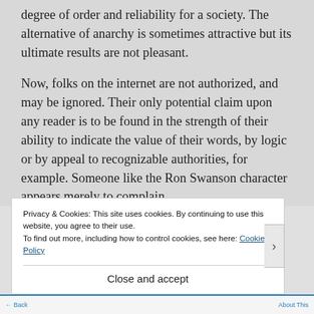degree of order and reliability for a society. The alternative of anarchy is sometimes attractive but its ultimate results are not pleasant.
Now, folks on the internet are not authorized, and may be ignored. Their only potential claim upon any reader is to be found in the strength of their ability to indicate the value of their words, by logic or by appeal to recognizable authorities, for example. Someone like the Ron Swanson character appears merely to complain
Privacy & Cookies: This site uses cookies. By continuing to use this website, you agree to their use.
To find out more, including how to control cookies, see here: Cookie Policy
Close and accept